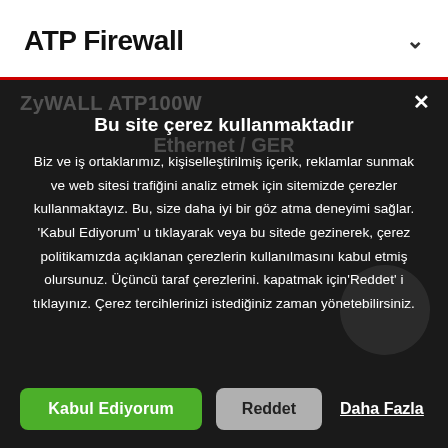ATP Firewall
Bu site çerez kullanmaktadır
Biz ve iş ortaklarımız, kişiselleştirilmiş içerik, reklamlar sunmak ve web sitesi trafiğini analiz etmek için sitemizde çerezler kullanmaktayız. Bu, size daha iyi bir göz atma deneyimi sağlar. 'Kabul Ediyorum' u tıklayarak veya bu sitede gezinerek, çerez politikamızda açıklanan çerezlerin kullanılmasını kabul etmiş olursunuz. Üçüncü taraf çerezlerini. kapatmak için'Reddet' i tıklayınız. Çerez tercihlerinizi istediğiniz zaman yönetebilirsiniz.
Kabul Ediyorum
Reddet
Daha Fazla